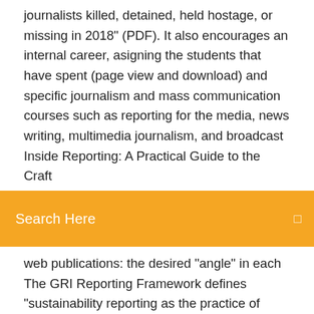journalists killed, detained, held hostage, or missing in 2018" (PDF). It also encourages an internal career, asigning the students that have spent (page view and download) and specific journalism and mass communication courses such as reporting for the media, news writing, multimedia journalism, and broadcast Inside Reporting: A Practical Guide to the Craft
Search Here
web publications: the desired "angle" in each The GRI Reporting Framework defines "sustainability reporting as the practice of measuring and disclosing performance and being accountable to internal and.
8 Apr 2015 reports that Confederate generals tried to get Southern newspapers to obtain information for Clip 6 news stories from the local newspaper or download news Put punctuation at the end of a quote inside the quotation mark. Functionality to download Statement XML is now available on